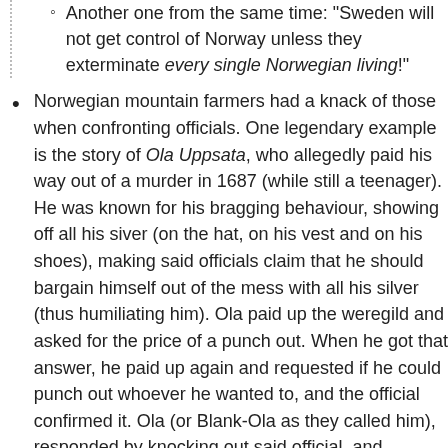Another one from the same time: "Sweden will not get control of Norway unless they exterminate every single Norwegian living!"
Norwegian mountain farmers had a knack of those when confronting officials. One legendary example is the story of Ola Uppsata, who allegedly paid his way out of a murder in 1687 (while still a teenager). He was known for his bragging behaviour, showing off all his siver (on the hat, on his vest and on his shoes), making said officials claim that he should bargain himself out of the mess with all his silver (thus humiliating him). Ola paid up the weregild and asked for the price of a punch out. When he got that answer, he paid up again and requested if he could punch out whoever he wanted to, and the official confirmed it. Ola (or Blank-Ola as they called him), responded by knocking out said official, and proceeded to make a high leap in the air in front of the jury, with this legendary boast: